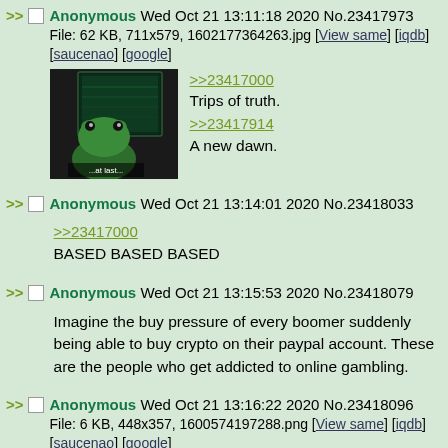>> Anonymous Wed Oct 21 13:11:18 2020 No.23417973
File: 62 KB, 711x579, 1602177364263.jpg [View same] [iqdb] [saucenao] [google]
[Figure (screenshot): Dark image of a frog in front of a glowing screen with text '...at last...']
>>23417000
Trips of truth.
>>23417914
A new dawn.
>> Anonymous Wed Oct 21 13:14:01 2020 No.23418033
>>23417000
BASED BASED BASED
>> Anonymous Wed Oct 21 13:15:53 2020 No.23418079
Imagine the buy pressure of every boomer suddenly being able to buy crypto on their paypal account. These are the people who get addicted to online gambling.
>> Anonymous Wed Oct 21 13:16:22 2020 No.23418096
File: 6 KB, 448x357, 1600574197288.png [View same] [iqdb] [saucenao] [google]